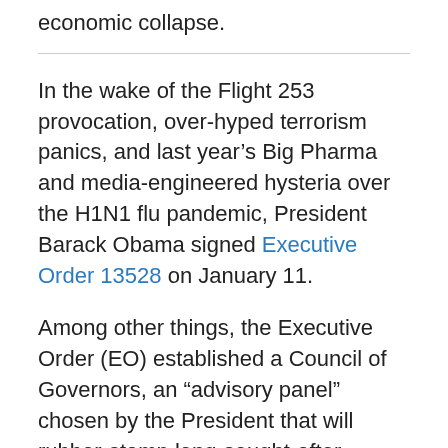economic collapse.
In the wake of the Flight 253 provocation, over-hyped terrorism panics, and last year’s Big Pharma and media-engineered hysteria over the H1N1 flu pandemic, President Barack Obama signed Executive Order 13528 on January 11.
Among other things, the Executive Order (EO) established a Council of Governors, an “advisory panel” chosen by the President that will rubber-stamp long-sought-after Pentagon contingency plans to seize control of state National Guard forces in the event of a “national emergency.”
According to the White House press release, the ten member, bipartisan Council was created “to strengthen…